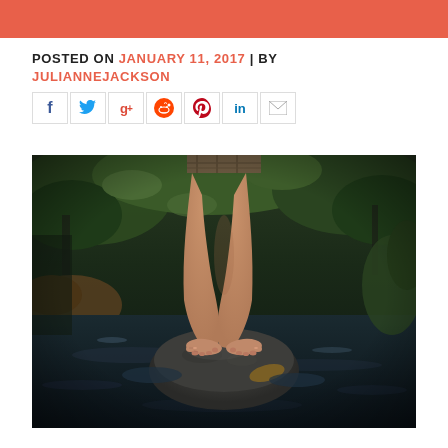POSTED ON JANUARY 11, 2017 | BY JULIANNEJACKSON
[Figure (other): Social sharing icons row: Facebook, Twitter, Google+, Reddit, Pinterest, LinkedIn, Email]
[Figure (photo): Child standing barefoot on a rock in a stream, wearing plaid shorts, surrounded by dark water and green vegetation]